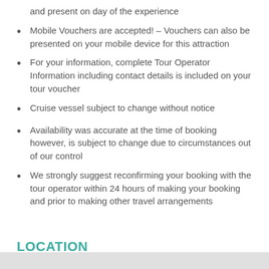and present on day of the experience
Mobile Vouchers are accepted! – Vouchers can also be presented on your mobile device for this attraction
For your information, complete Tour Operator Information including contact details is included on your tour voucher
Cruise vessel subject to change without notice
Availability was accurate at the time of booking however, is subject to change due to circumstances out of our control
We strongly suggest reconfirming your booking with the tour operator within 24 hours of making your booking and prior to making other travel arrangements
LOCATION
Whitsundays, Queensland